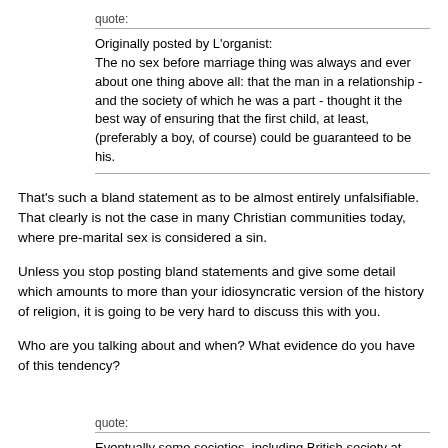quote:
Originally posted by L'organist:
The no sex before marriage thing was always and ever about one thing above all: that the man in a relationship - and the society of which he was a part - thought it the best way of ensuring that the first child, at least, (preferably a boy, of course) could be guaranteed to be his.
That's such a bland statement as to be almost entirely unfalsifiable. That clearly is not the case in many Christian communities today, where pre-marital sex is considered a sin.
Unless you stop posting bland statements and give some detail which amounts to more than your idiosyncratic version of the history of religion, it is going to be very hard to discuss this with you.
Who are you talking about and when? What evidence do you have of this tendency?
quote:
Eventually some societies, including British society at least lower down the social scale, it became the custom that while a betrothal might occur when a girl was 12 or so, no formal marriage would take place until either the bride was pregnant or even after the birth. So plenty of people - albeit